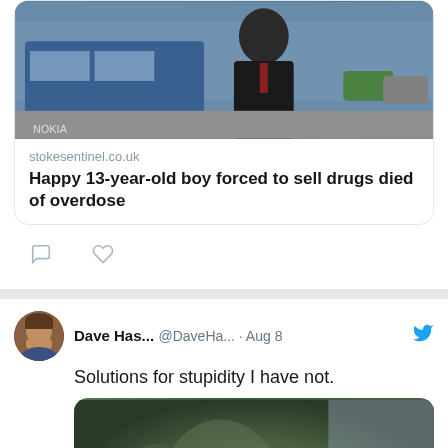[Figure (screenshot): Photo of a young boy in school uniform with cars and street visible in background]
stokesentinel.co.uk
Happy 13-year-old boy forced to sell drugs died of overdose
[Figure (screenshot): Twitter action icons: comment bubble and heart]
Dave Has... @DaveHa... · Aug 8
Solutions for stupidity I have not.
[Figure (photo): Video thumbnail showing Yoda from Star Wars with a blue play button overlay]